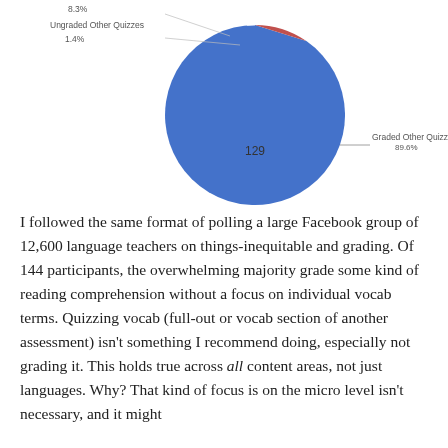[Figure (pie-chart): Graded Other Quizzes vs Ungraded Other Quizzes]
I followed the same format of polling a large Facebook group of 12,600 language teachers on things-inequitable and grading. Of 144 participants, the overwhelming majority grade some kind of reading comprehension without a focus on individual vocab terms. Quizzing vocab (full-out or vocab section of another assessment) isn't something I recommend doing, especially not grading it. This holds true across all content areas, not just languages. Why? That kind of focus is on the micro level isn't necessary, and it might